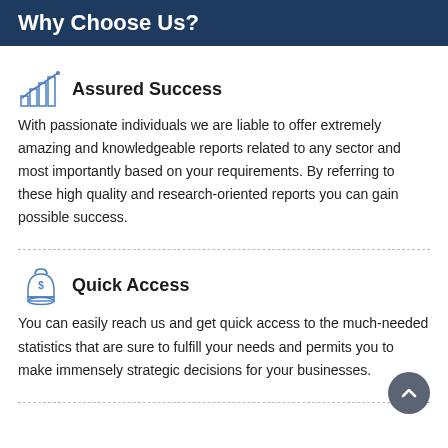Why Choose Us?
Assured Success
With passionate individuals we are liable to offer extremely amazing and knowledgeable reports related to any sector and most importantly based on your requirements. By referring to these high quality and research-oriented reports you can gain possible success.
Quick Access
You can easily reach us and get quick access to the much-needed statistics that are sure to fulfill your needs and permits you to make immensely strategic decisions for your businesses.